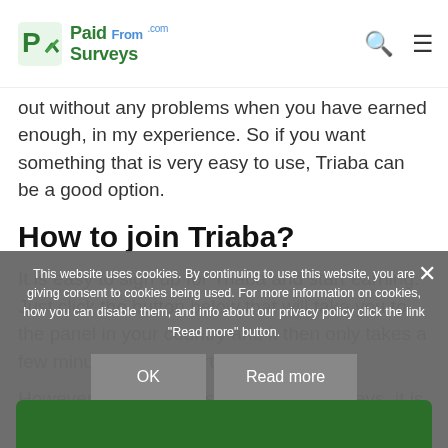Paid From Surveys
out without any problems when you have earned enough, in my experience. So if you want something that is very easy to use, Triaba can be a good option.
How to join Triaba?
It is easy to sign up for Triaba and start earning. Just click the button below that will take you to the panel in your country and it then only takes a few minutes to get started.
However, to get access to the most surveys, it is a good idea to take the time to fill out the profile questions as soon as possible.
This website uses cookies. By continuing to use this website, you are giving consent to cookies being used. For more information on cookies, how you can disable them, and info about our privacy policy click the link "Read more" button.